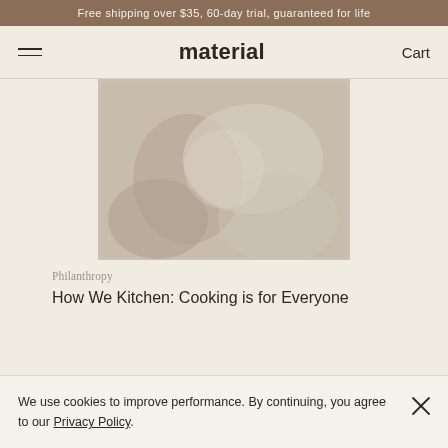Free shipping over $35, 60-day trial, guaranteed for life
material | Cart
[Figure (photo): A blurred photograph of someone cooking, with hands visible working with food in a bowl or pan.]
Philanthropy
How We Kitchen: Cooking is for Everyone
We use cookies to improve performance. By continuing, you agree to our Privacy Policy.